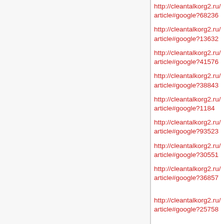http://cleantalkorg2.ru/article#google?68236
http://cleantalkorg2.ru/article#google?13632
http://cleantalkorg2.ru/article#google?41576
http://cleantalkorg2.ru/article#google?38843
http://cleantalkorg2.ru/article#google?1184
http://cleantalkorg2.ru/article#google?93523
http://cleantalkorg2.ru/article#google?30551
http://cleantalkorg2.ru/article#google?36857
http://cleantalkorg2.ru/article#google?25758